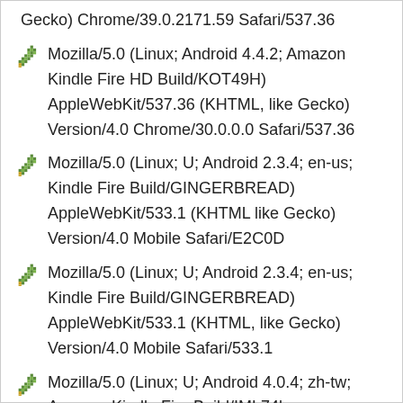Gecko) Chrome/39.0.2171.59 Safari/537.36
Mozilla/5.0 (Linux; Android 4.4.2; Amazon Kindle Fire HD Build/KOT49H) AppleWebKit/537.36 (KHTML, like Gecko) Version/4.0 Chrome/30.0.0.0 Safari/537.36
Mozilla/5.0 (Linux; U; Android 2.3.4; en-us; Kindle Fire Build/GINGERBREAD) AppleWebKit/533.1 (KHTML like Gecko) Version/4.0 Mobile Safari/E2C0D
Mozilla/5.0 (Linux; U; Android 2.3.4; en-us; Kindle Fire Build/GINGERBREAD) AppleWebKit/533.1 (KHTML, like Gecko) Version/4.0 Mobile Safari/533.1
Mozilla/5.0 (Linux; U; Android 4.0.4; zh-tw; Amazon Kindle Fire Build/IML74k; CyanogenMod-Energy CM9) AppleWebKit/534.30 (KHTML, like Gecko) Version/4.0 Mobile Safari/534.30